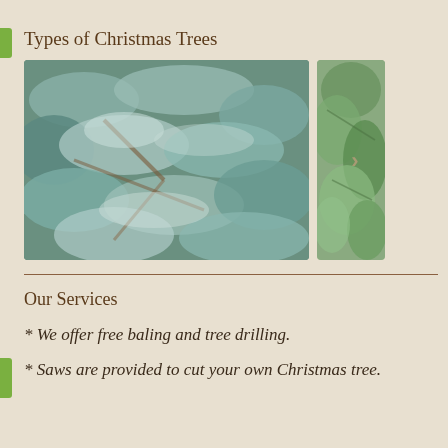Types of Christmas Trees
[Figure (photo): Close-up photo of blue spruce Christmas tree branches with silvery-white needles, and a narrower side panel showing green pine/fir needles with a right-arrow navigation indicator]
Our Services
* We offer free baling and tree drilling.
* Saws are provided to cut your own Christmas tree.